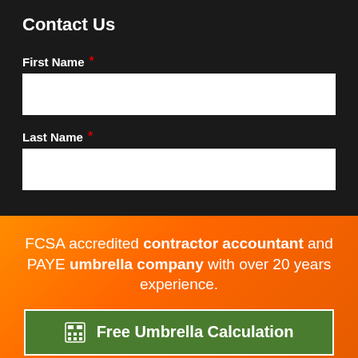Contact Us
First Name *
Last Name *
FCSA accredited contractor accountant and PAYE umbrella company with over 20 years experience.
Free Umbrella Calculation